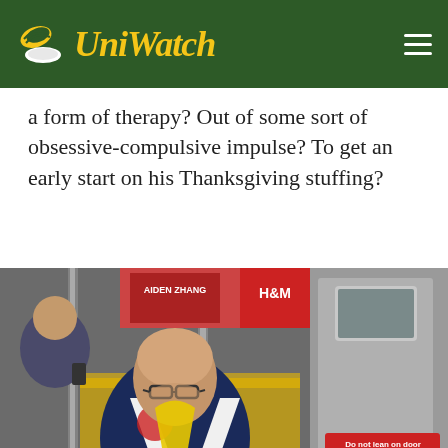Uni Watch
a form of therapy? Out of some sort of obsessive-compulsive impulse? To get an early start on his Thanksgiving stuffing?
[Figure (photo): A bald man with glasses sitting on a New York City subway, wearing a navy blue and white jacket with a yellow lanyard, looking down at something in his hands. A 'Do not lean on door' sign is visible on the subway door to the right.]